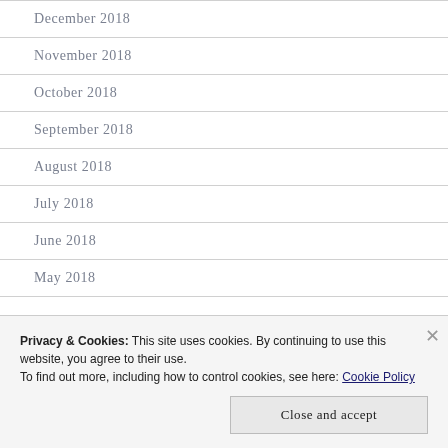December 2018
November 2018
October 2018
September 2018
August 2018
July 2018
June 2018
May 2018
Privacy & Cookies: This site uses cookies. By continuing to use this website, you agree to their use.
To find out more, including how to control cookies, see here: Cookie Policy
Close and accept